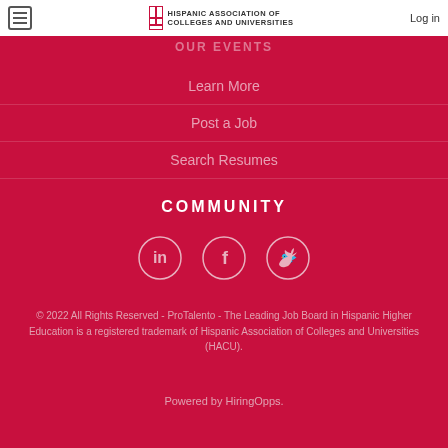Hispanic Association of Colleges and Universities | Log in
OUR EVENTS
Learn More
Post a Job
Search Resumes
COMMUNITY
[Figure (illustration): LinkedIn, Facebook, and Twitter social media icons as outlined circles on dark red background]
© 2022 All Rights Reserved - ProTalento - The Leading Job Board in Hispanic Higher Education is a registered trademark of Hispanic Association of Colleges and Universities (HACU).
Powered by HiringOpps.